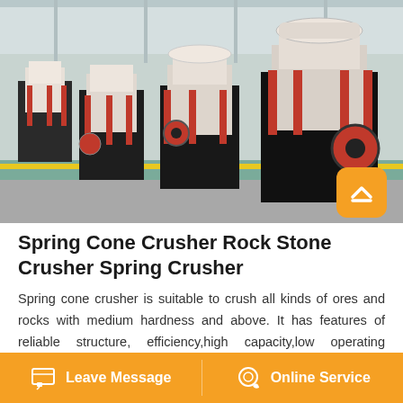[Figure (photo): Industrial factory floor showing a row of spring cone crushers with white and red bodies on black bases, arranged in a line inside a large warehouse with green and grey flooring and yellow safety lines.]
Spring Cone Crusher Rock Stone Crusher Spring Crusher
Spring cone crusher is suitable to crush all kinds of ores and rocks with medium hardness and above. It has features of reliable structure, efficiency,high capacity,low operating cost,easy
Leave Message  Online Service